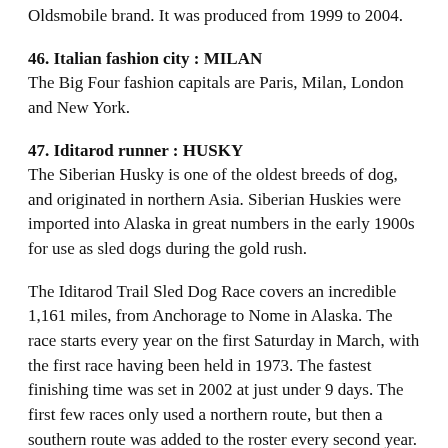Oldsmobile brand. It was produced from 1999 to 2004.
46. Italian fashion city : MILAN
The Big Four fashion capitals are Paris, Milan, London and New York.
47. Iditarod runner : HUSKY
The Siberian Husky is one of the oldest breeds of dog, and originated in northern Asia. Siberian Huskies were imported into Alaska in great numbers in the early 1900s for use as sled dogs during the gold rush.
The Iditarod Trail Sled Dog Race covers an incredible 1,161 miles, from Anchorage to Nome in Alaska. The race starts every year on the first Saturday in March, with the first race having been held in 1973. The fastest finishing time was set in 2002 at just under 9 days. The first few races only used a northern route, but then a southern route was added to the roster every second year. It’s kind of a good thing, because when the racers take the northern route